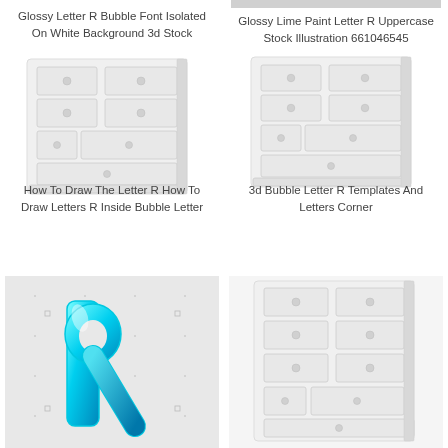Glossy Letter R Bubble Font Isolated On White Background 3d Stock
Glossy Lime Paint Letter R Uppercase Stock Illustration 661046545
[Figure (illustration): White dresser/chest of drawers 3d illustration, left side]
[Figure (illustration): White dresser/chest of drawers 3d illustration, right side]
How To Draw The Letter R How To Draw Letters R Inside Bubble Letter
3d Bubble Letter R Templates And Letters Corner
[Figure (illustration): Glossy cyan/blue 3D bubble letter R on light background]
[Figure (illustration): White dresser/chest of drawers 3d illustration, bottom row]